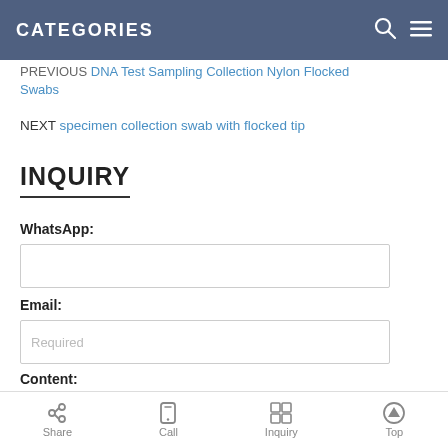CATEGORIES
PREVIOUS DNA Test Sampling Collection Nylon Flocked Swabs
NEXT specimen collection swab with flocked tip
INQUIRY
WhatsApp:
Email: Required
Content:
Share  Call  Inquiry  Top